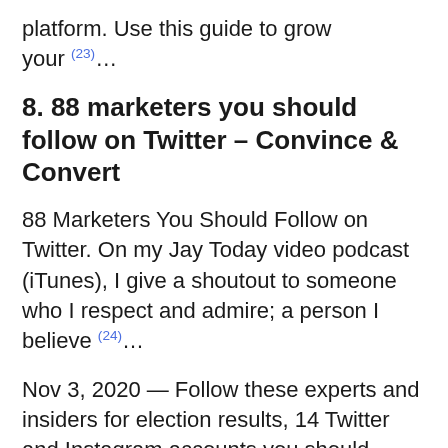platform. Use this guide to grow your (23)...
8. 88 marketers you should follow on Twitter – Convince & Convert
88 Marketers You Should Follow on Twitter. On my Jay Today video podcast (iTunes), I give a shoutout to someone who I respect and admire; a person I believe (24)...
Nov 3, 2020 — Follow these experts and insiders for election results, 14 Twitter and Instagram accounts you should